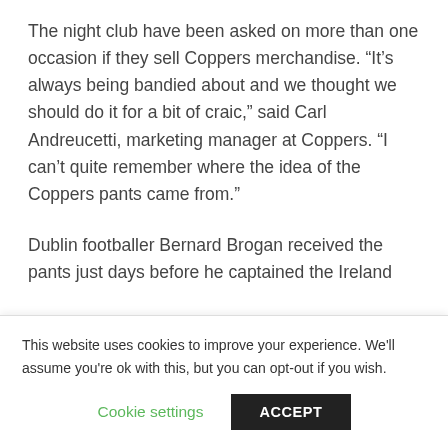The night club have been asked on more than one occasion if they sell Coppers merchandise. “It’s always being bandied about and we thought we should do it for a bit of craic,” said Carl Andreucetti, marketing manager at Coppers. “I can’t quite remember where the idea of the Coppers pants came from.”
Dublin footballer Bernard Brogan received the pants just days before he captained the Ireland
This website uses cookies to improve your experience. We’ll assume you’re ok with this, but you can opt-out if you wish.
Cookie settings
ACCEPT